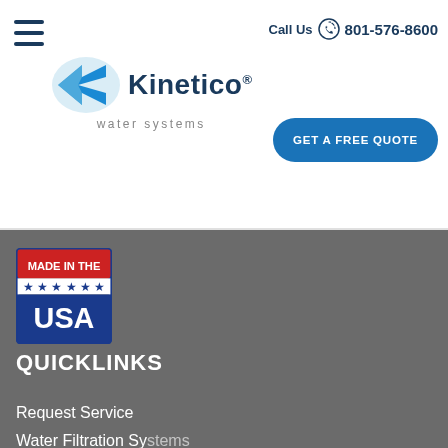[Figure (logo): Three horizontal navy blue lines (hamburger menu icon) in top-left corner]
Call Us  801-576-8600
[Figure (logo): Kinetico water systems logo with blue K arrow icon and wordmark]
GET A FREE QUOTE
[Figure (logo): Made in the USA badge with red top stripe, stars, and blue USA text on white background with blue border]
QUICKLINKS
Request Service
Water Filtration Systems